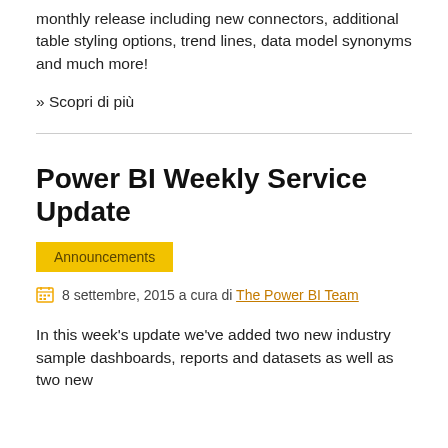monthly release including new connectors, additional table styling options, trend lines, data model synonyms and much more!
» Scopri di più
Power BI Weekly Service Update
Announcements
8 settembre, 2015 a cura di The Power BI Team
In this week's update we've added two new industry sample dashboards, reports and datasets as well as two new